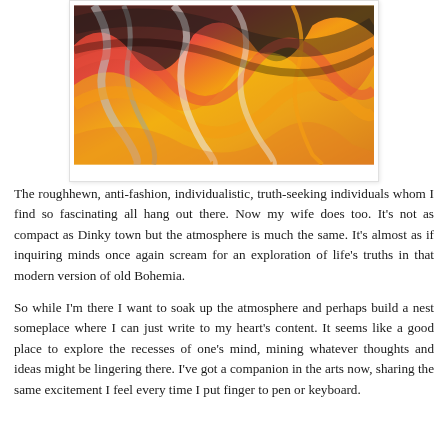[Figure (illustration): Abstract painting with swirling patterns in red, orange, yellow, black, and white colors resembling flowing lava or marbled paint]
The roughhewn, anti-fashion, individualistic, truth-seeking individuals whom I find so fascinating all hang out there. Now my wife does too. It's not as compact as Dinky town but the atmosphere is much the same. It's almost as if inquiring minds once again scream for an exploration of life's truths in that modern version of old Bohemia.
So while I'm there I want to soak up the atmosphere and perhaps build a nest someplace where I can just write to my heart's content. It seems like a good place to explore the recesses of one's mind, mining whatever thoughts and ideas might be lingering there. I've got a companion in the arts now, sharing the same excitement I feel every time I put finger to pen or keyboard.